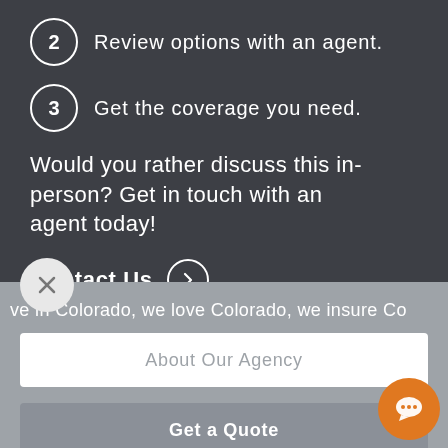2 Review options with an agent.
3 Get the coverage you need.
Would you rather discuss this in-person? Get in touch with an agent today!
Contact Us →
ve in Colorado, we love Colorado, we insure Co
About Our Agency
Get a Quote